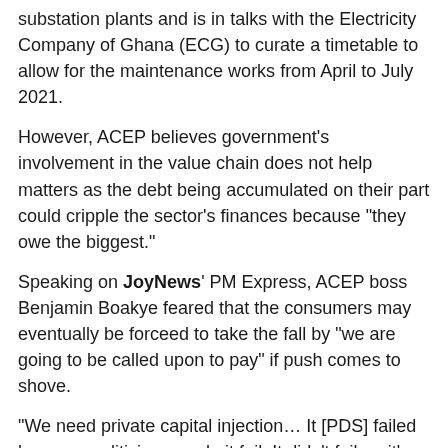substation plants and is in talks with the Electricity Company of Ghana (ECG) to curate a timetable to allow for the maintenance works from April to July 2021.
However, ACEP believes government's involvement in the value chain does not help matters as the debt being accumulated on their part could cripple the sector's finances because "they owe the biggest."
Speaking on JoyNews' PM Express, ACEP boss Benjamin Boakye feared that the consumers may eventually be forceed to take the fall by "we are going to be called upon to pay" if push comes to shove.
"We need private capital injection… It [PDS] failed because politicians made it fail. It didn't fail on it's own. It was a structure that was set up to independently run and it was hijacked into the failure that we saw," he said Monday.
He told Evans Mensah that; "If we don't fix it now, we are going to be called upon to pay. If we had fixed it before PDS and all the saga, we wouldn't be asked to pay 20p today on a litre of petrol."